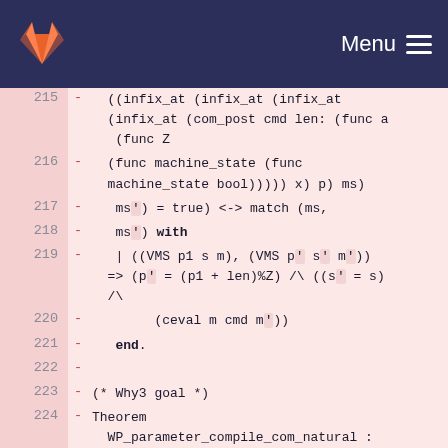GitLab Menu
215  -  ((infix_at (infix_at (infix_at (infix_at (com_post cmd len: (func a (func Z
216  -  (func machine_state (func machine_state bool))))) x) p) ms)
217  -  ms') = true) <-> match (ms,
218  -  ms') with
219  -  | ((VMS p1 s m), (VMS p' s' m')) => (p' = (p1 + len)%Z) /\ ((s' = s) /\
220  -  (ceval m cmd m'))
221  -  end.
222  -
223  -  (* Why3 goal *)
224  -  Theorem WP_parameter_compile_com_natural : forall (com1:com),
225  -  forall (res:(list instr)) (res1: (func unit (func Z (func machine_state